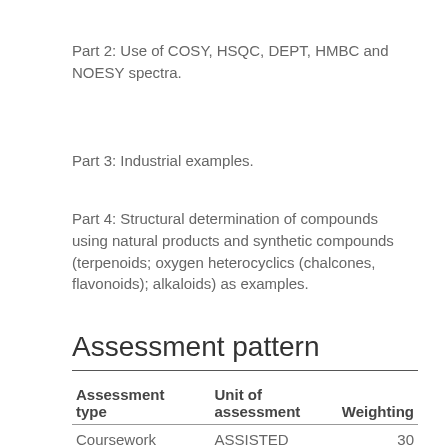Part 2: Use of COSY, HSQC, DEPT, HMBC and NOESY spectra.
Part 3: Industrial examples.
Part 4: Structural determination of compounds using natural products and synthetic compounds (terpenoids; oxygen heterocyclics (chalcones, flavonoids); alkaloids) as examples.
Assessment pattern
| Assessment type | Unit of assessment | Weighting |
| --- | --- | --- |
| Coursework | ASSESSED | 30 |